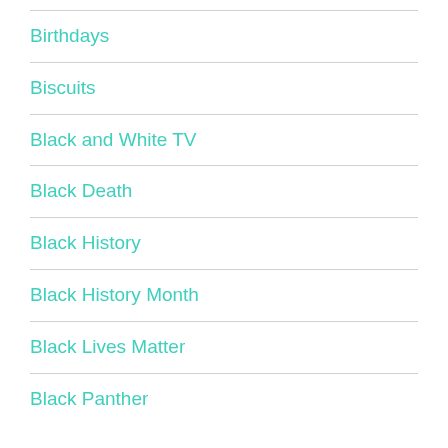Birthdays
Biscuits
Black and White TV
Black Death
Black History
Black History Month
Black Lives Matter
Black Panther